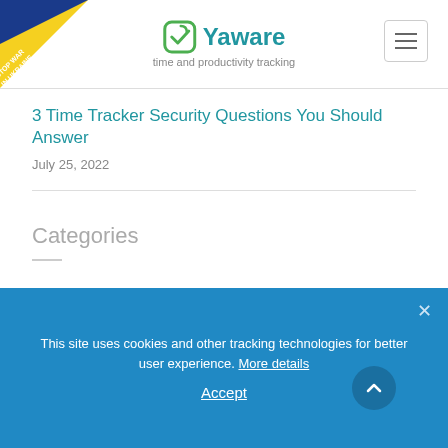[Figure (logo): Yaware logo with checkmark icon and tagline 'time and productivity tracking']
3 Time Tracker Security Questions You Should Answer
July 25, 2022
Categories
Blog
Case Studies
This site uses cookies and other tracking technologies for better user experience. More details
Accept